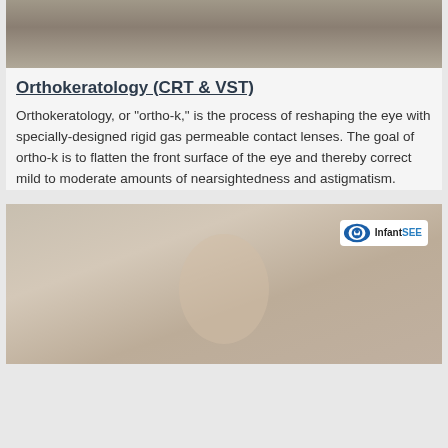[Figure (photo): Top portion of a photo showing the back/top of a person's head with dark hair, cropped at top of page]
Orthokeratology (CRT & VST)
Orthokeratology, or "ortho-k," is the process of reshaping the eye with specially-designed rigid gas permeable contact lenses. The goal of ortho-k is to flatten the front surface of the eye and thereby correct mild to moderate amounts of nearsightedness and astigmatism.
[Figure (photo): Photo of a baby wearing a grey hooded outfit, looking upward, with an InfantSEE logo in the upper right corner of the image]